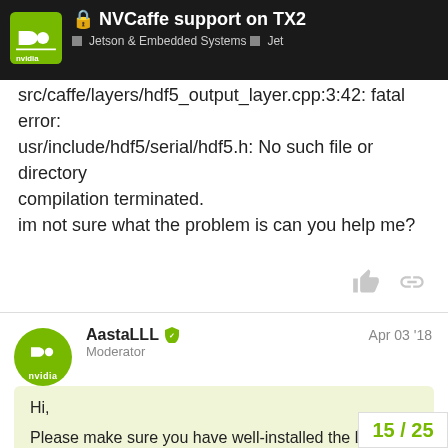NVCaffe support on TX2 — Jetson & Embedded Systems — Jet
src/caffe/layers/hdf5_output_layer.cpp:3:42: fatal error: usr/include/hdf5/serial/hdf5.h: No such file or directory compilation terminated.
im not sure what the problem is can you help me?
AastaLLL Moderator — Apr 03 '18
Hi,

Please make sure you have well-installed the Pre-requirement in comment #2.
Thanks.
15 / 25